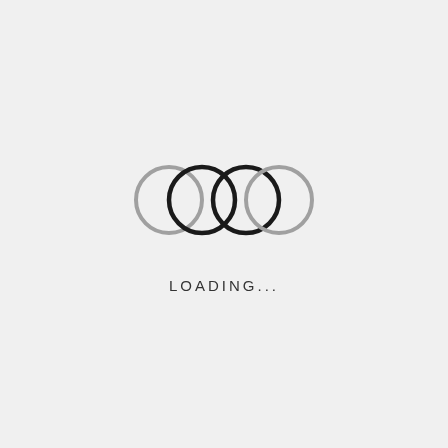[Figure (logo): Loading animation graphic: four interlocking rings arranged in two pairs. Left pair: gray ring overlapping with black ring. Right pair: black ring overlapping with gray ring. Followed by 'LOADING...' text in spaced sans-serif letters.]
LOADING...